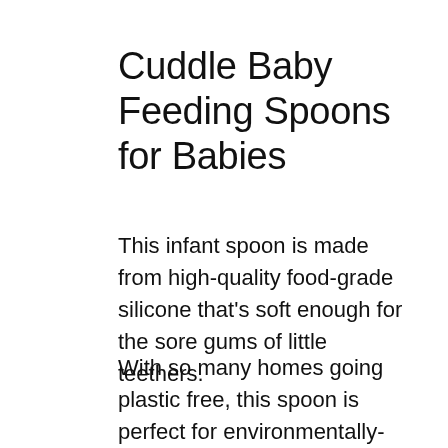Cuddle Baby Feeding Spoons for Babies
This infant spoon is made from high-quality food-grade silicone that's soft enough for the sore gums of little teethers.
With so many homes going plastic free, this spoon is perfect for environmentally-conscious moms and dads. It's BPA, lead,